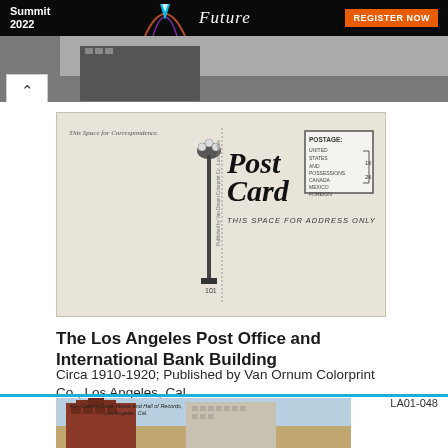Summit 2022 / Future / REGISTER NOW
[Figure (photo): Back of a vintage postcard with 'Post Card' title, decorative lamppost, postage box, correspondence space, and address area. Published circa 1910-1920 by Van Ornum Colorprint Co.]
The Los Angeles Post Office and International Bank Building
Circa 1910-1920; Published by Van Ornum Colorprint Co., Los Angeles, Cal.
[Figure (photo): Vintage color postcard showing the County Court House and Hall of Records, Los Angeles, Cal. Partially visible at bottom of page. Card ID: LA01-048]